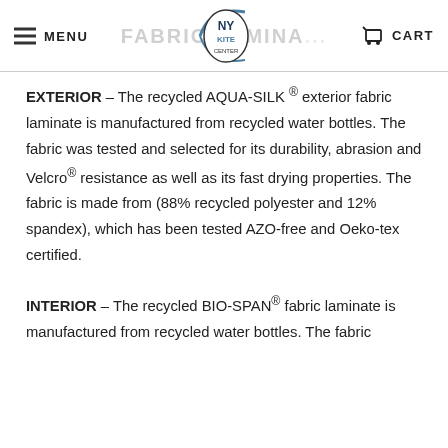MENU | NY KITE CENTER | CART
EXTERIOR – The recycled AQUA-SILK ® exterior fabric laminate is manufactured from recycled water bottles. The fabric was tested and selected for its durability, abrasion and Velcro® resistance as well as its fast drying properties. The fabric is made from (88% recycled polyester and 12% spandex), which has been tested AZO-free and Oeko-tex certified.
INTERIOR – The recycled BIO-SPAN® fabric laminate is manufactured from recycled water bottles. The fabric